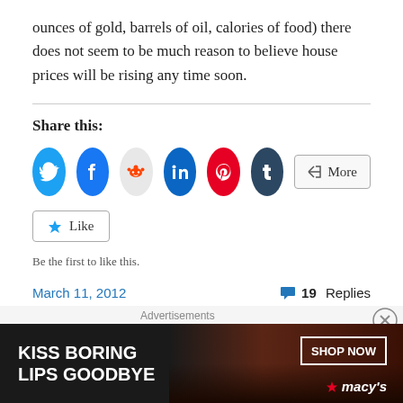ounces of gold, barrels of oil, calories of food) there does not seem to be much reason to believe house prices will be rising any time soon.
Share this:
[Figure (other): Social sharing buttons: Twitter, Facebook, Reddit, LinkedIn, Pinterest, Tumblr, More]
[Figure (other): Like button with star icon and text 'Be the first to like this.']
Be the first to like this.
March 11, 2012   19 Replies
Advertisements
[Figure (other): Macy's advertisement banner: KISS BORING LIPS GOODBYE with SHOP NOW button and Macy's logo]